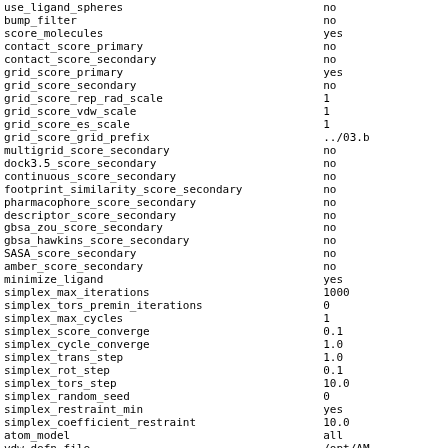| parameter | value |
| --- | --- |
| use_ligand_spheres | no |
| bump_filter | no |
| score_molecules | yes |
| contact_score_primary | no |
| contact_score_secondary | no |
| grid_score_primary | yes |
| grid_score_secondary | no |
| grid_score_rep_rad_scale | 1 |
| grid_score_vdw_scale | 1 |
| grid_score_es_scale | 1 |
| grid_score_grid_prefix | ../03.b |
| multigrid_score_secondary | no |
| dock3.5_score_secondary | no |
| continuous_score_secondary | no |
| footprint_similarity_score_secondary | no |
| pharmacophore_score_secondary | no |
| descriptor_score_secondary | no |
| gbsa_zou_score_secondary | no |
| gbsa_hawkins_score_secondary | no |
| SASA_score_secondary | no |
| amber_score_secondary | no |
| minimize_ligand | yes |
| simplex_max_iterations | 1000 |
| simplex_tors_premin_iterations | 0 |
| simplex_max_cycles | 1 |
| simplex_score_converge | 0.1 |
| simplex_cycle_converge | 1.0 |
| simplex_trans_step | 1.0 |
| simplex_rot_step | 0.1 |
| simplex_tors_step | 10.0 |
| simplex_random_seed | 0 |
| simplex_restraint_min | yes |
| simplex_coefficient_restraint | 10.0 |
| atom_model | all |
| vdw_defn_file | /opt/AM |
| flex_defn_file | /opt/AM |
| flex_drive_file | /opt/AM |